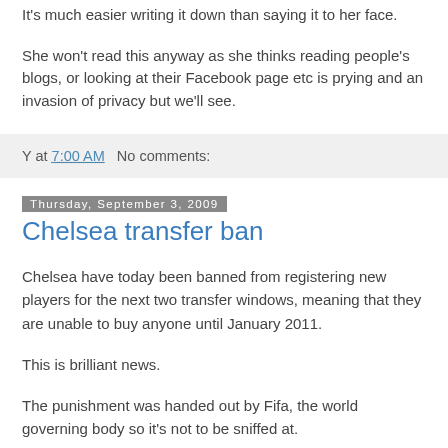It's much easier writing it down than saying it to her face.
She won't read this anyway as she thinks reading people's blogs, or looking at their Facebook page etc is prying and an invasion of privacy but we'll see.
Y at 7:00 AM   No comments:
Thursday, September 3, 2009
Chelsea transfer ban
Chelsea have today been banned from registering new players for the next two transfer windows, meaning that they are unable to buy anyone until January 2011.
This is brilliant news.
The punishment was handed out by Fifa, the world governing body so it's not to be sniffed at.
Chelsea will inevitably appeal but think they face a very uphill...